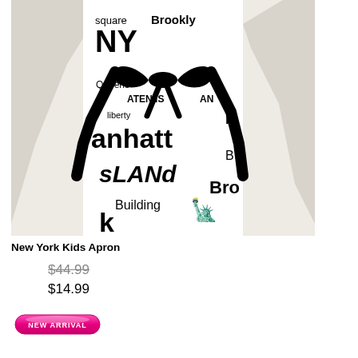[Figure (photo): A white children's apron with black NYC typography print (words: square, Brooklyn, NY, Queens, Staten Island, liberty, Manhattan, B, Island, Bro, Building, Statue of Liberty icon) with black ribbon/bow tie at waist, worn on a white mannequin.]
New York Kids Apron
$44.99 (strikethrough original price)
$14.99
[Figure (other): Pink pill-shaped button with white text reading NEW ARRIVAL]